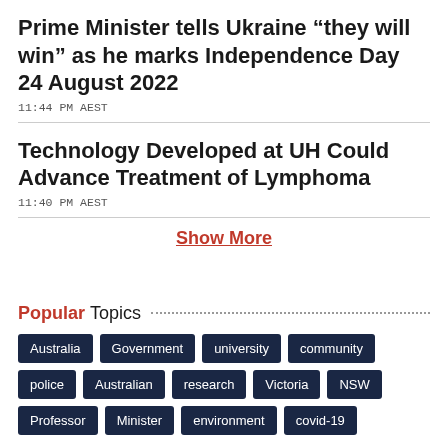Prime Minister tells Ukraine “they will win” as he marks Independence Day 24 August 2022
11:44 PM AEST
Technology Developed at UH Could Advance Treatment of Lymphoma
11:40 PM AEST
Show More
Popular Topics
Australia
Government
university
community
police
Australian
research
Victoria
NSW
Professor
Minister
environment
covid-19